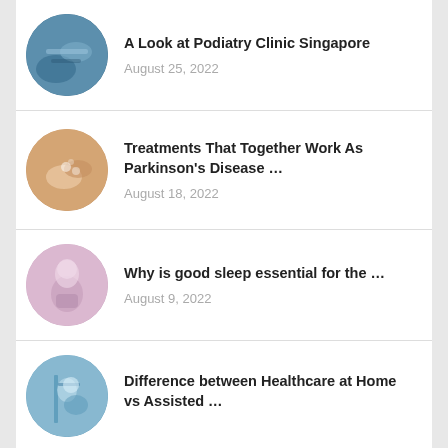[Figure (photo): Circular thumbnail of podiatry clinic, blue/gray medical tones]
A Look at Podiatry Clinic Singapore
August 25, 2022
[Figure (photo): Circular thumbnail showing hands with pills, Parkinson's treatment related]
Treatments That Together Work As Parkinson's Disease …
August 18, 2022
[Figure (photo): Circular thumbnail of person in pink/lavender, sleep related]
Why is good sleep essential for the …
August 9, 2022
[Figure (photo): Circular thumbnail of elderly person with caregiver, home healthcare related]
Difference between Healthcare at Home vs Assisted …